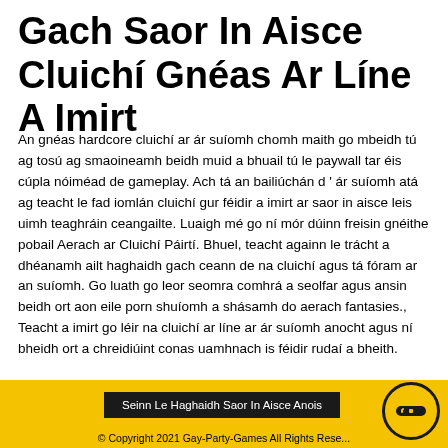Gach Saor In Aisce Cluichí Gnéas Ar Líne A Imirt
An gnéas hardcore cluichí ar ár suíomh chomh maith go mbeidh tú ag tosú ag smaoineamh beidh muid a bhuail tú le paywall tar éis cúpla nóiméad de gameplay. Ach tá an bailiúchán d ' ár suíomh atá ag teacht le fad iomlán cluichí gur féidir a imirt ar saor in aisce leis uimh teaghráin ceangailte. Luaigh mé go ní mór dúinn freisin gnéithe pobail Aerach ar Cluichí Páirtí. Bhuel, teacht againn le trácht a dhéanamh ailt haghaidh gach ceann de na cluichí agus tá fóram ar an suíomh. Go luath go leor seomra comhrá a seolfar agus ansin beidh ort aon eile porn shuíomh a shásamh do aerach fantasies., Teacht a imirt go léir na cluichí ar líne ar ár suíomh anocht agus ní bheidh ort a chreidiúint conas uamhnach is féidir rudaí a bheith.
Seinn Le Haghaidh Saor In Aisce Anois
© Copyright 2021 Gay-Party-Games All Rights Reserved